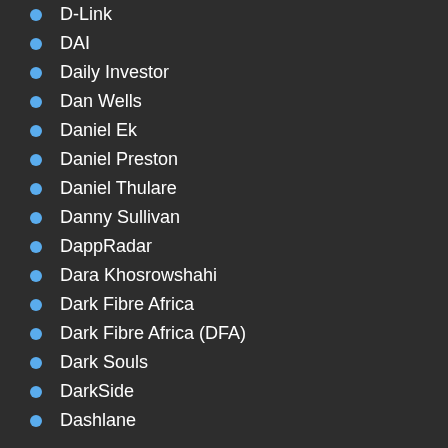D-Link
DAI
Daily Investor
Dan Wells
Daniel Ek
Daniel Preston
Daniel Thulare
Danny Sullivan
DappRadar
Dara Khosrowshahi
Dark Fibre Africa
Dark Fibre Africa (DFA)
Dark Souls
DarkSide
Dashlane